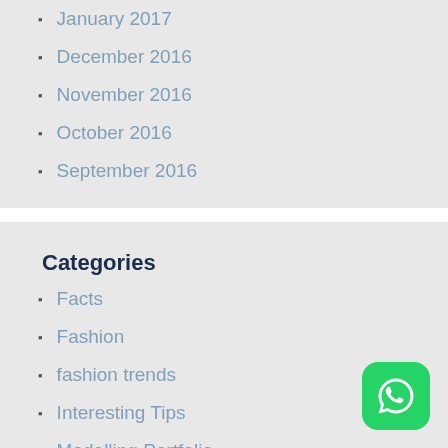January 2017
December 2016
November 2016
October 2016
September 2016
Categories
Facts
Fashion
fashion trends
Interesting Tips
Modelling Portfolio
Modelling Story
Modelling Tips